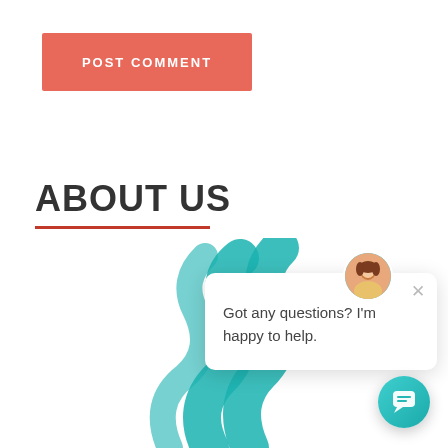POST COMMENT
ABOUT US
[Figure (illustration): Teal decorative swirl/wave shape in bottom-center area of the page]
[Figure (screenshot): Chat popup widget with avatar of a woman, close X button, and text 'Got any questions? I'm happy to help.']
Got any questions? I'm happy to help.
[Figure (illustration): Teal circular chat button with speech bubble icon in bottom-right corner]